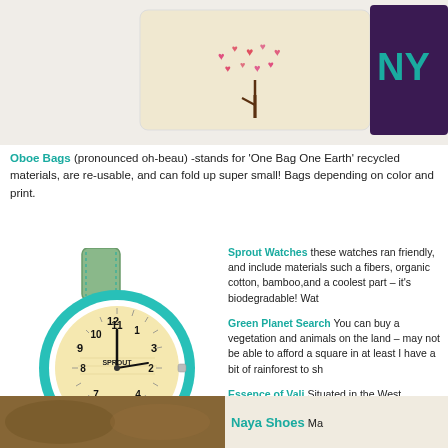[Figure (photo): Top portion showing eco-friendly bags: a cream canvas bag with a heart tree embroidery design, and a dark purple bag with teal NY letters.]
Oboe Bags (pronounced oh-beau) -stands for 'One Bag One Earth' recycled materials, are re-usable, and can fold up super small! Bags depending on color and print.
[Figure (photo): A Sprout watch with a teal/turquoise round case, cream/beige watch face with black numerals reading SPROUT, and a green fabric/canvas strap.]
Sprout Watches these watches ran friendly, and include materials such a fibers, organic cotton, bamboo,and a coolest part – it's biodegradable! Wat
Green Planet Search You can buy a vegetation and animals on the land – may not be able to afford a square in at least I have a bit of rainforest to sh
Essence of Vali Situated in the West aromatherapy to a whole new level – and smell so great – terrific to mist in sleep!
[Figure (photo): Bottom strip showing a brown/tan background photo on the left and the beginning of Naya Shoes section on the right.]